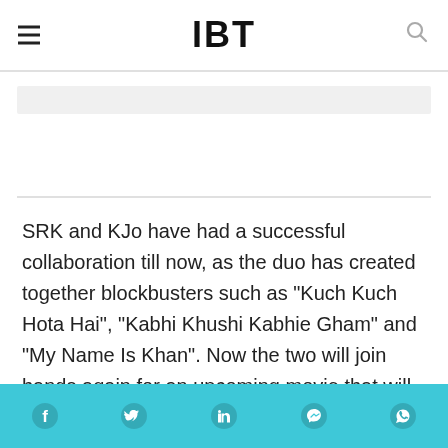IBT
SRK and KJo have had a successful collaboration till now, as the duo has created together blockbusters such as "Kuch Kuch Hota Hai", "Kabhi Khushi Kabhie Gham" and "My Name Is Khan". Now the two will join hands again for an upcoming movie that will be directed by Gauri Shinde, featuring Alia Bhatt and Shah Rukh.
[Figure (other): Social media share bar with Facebook, Twitter, LinkedIn, Messenger, and WhatsApp icons on a teal background]